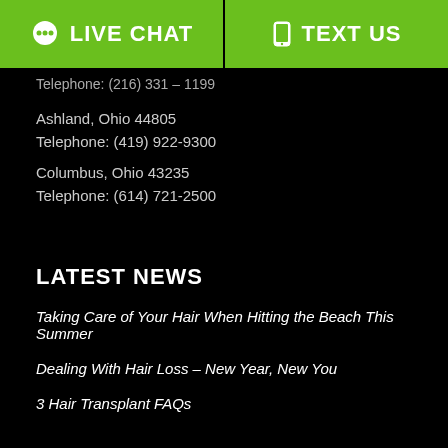[Figure (infographic): Green header bar with two buttons: LIVE CHAT (left) and TEXT US (right), separated by a vertical black divider. Each has an icon.]
Telephone: (216) 331 - 1199
Ashland, Ohio 44805
Telephone: (419) 922-9300
Columbus, Ohio 43235
Telephone: (614) 721-2500
LATEST NEWS
Taking Care of Your Hair When Hitting the Beach This Summer
Dealing With Hair Loss – New Year, New You
3 Hair Transplant FAQs